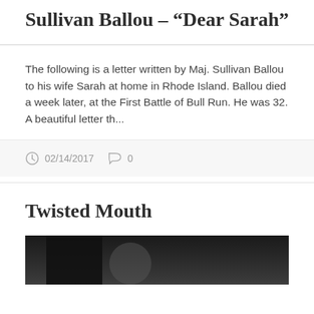Sullivan Ballou – “Dear Sarah”
The following is a letter written by Maj. Sullivan Ballou to his wife Sarah at home in Rhode Island. Ballou died a week later, at the First Battle of Bull Run. He was 32. A beautiful letter th...
02/14/2017   0
Twisted Mouth
[Figure (photo): Dark photograph, partially visible at bottom of page, appears to show a person]